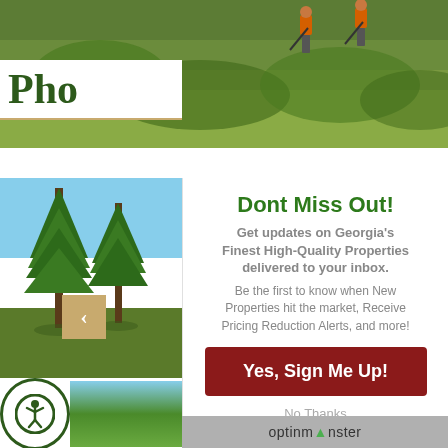[Figure (photo): Top banner photo showing hunters in orange vests walking through green brush/forest landscape]
Pho
[Figure (photo): Left side thumbnail showing pine trees with blue sky]
Dont Miss Out!
Get updates on Georgia's Finest High-Quality Properties delivered to your inbox.
Be the first to know when New Properties hit the market, Receive Pricing Reduction Alerts, and more!
Yes, Sign Me Up!
No Thanks
optinmonster